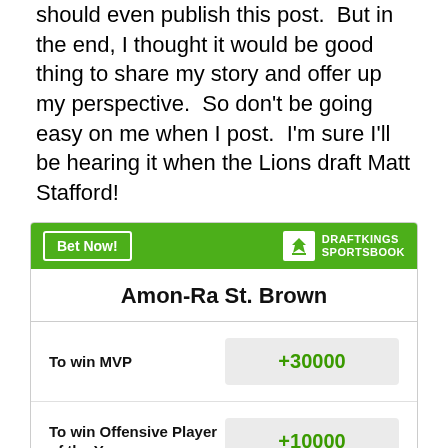should even publish this post.  But in the end, I thought it would be good thing to share my story and offer up my perspective.  So don't be going easy on me when I post.  I'm sure I'll be hearing it when the Lions draft Matt Stafford!
| Bet | Odds |
| --- | --- |
| Amon-Ra St. Brown |  |
| To win MVP | +30000 |
| To win Offensive Player of the Year | +10000 |
| Most Receiving Yards in League | +6000 |